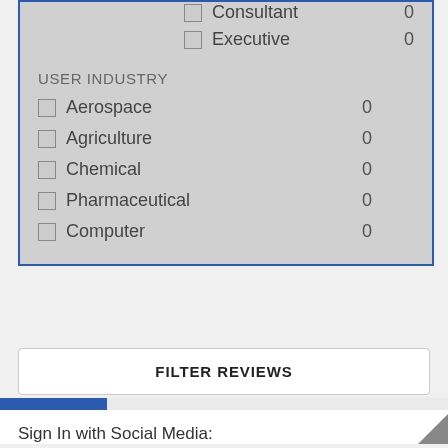Consultant 0
Executive 0
USER INDUSTRY
Aerospace 0
Agriculture 0
Chemical 0
Pharmaceutical 0
Computer 0
FILTER REVIEWS
REVIEWS
LEAVE A REVIEW
Sign In with Social Media: